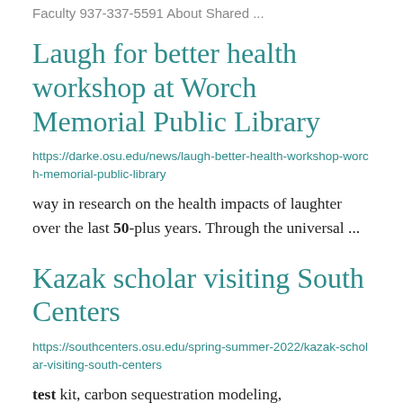Faculty 937-337-5591 About Shared ...
Laugh for better health workshop at Worch Memorial Public Library
https://darke.osu.edu/news/laugh-better-health-workshop-worch-memorial-public-library
way in research on the health impacts of laughter over the last 50-plus years. Through the universal ...
Kazak scholar visiting South Centers
https://southcenters.osu.edu/spring-summer-2022/kazak-scholar-visiting-south-centers
test kit, carbon sequestration modeling, and all ...